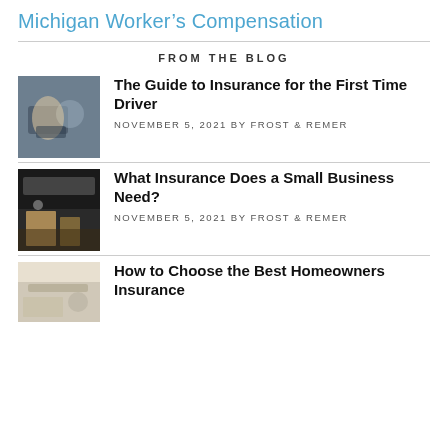Michigan Worker’s Compensation
FROM THE BLOG
The Guide to Insurance for the First Time Driver
NOVEMBER 5, 2021 BY FROST & REMER
What Insurance Does a Small Business Need?
NOVEMBER 5, 2021 BY FROST & REMER
How to Choose the Best Homeowners Insurance